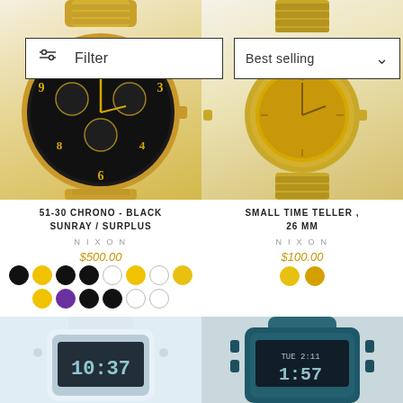[Figure (screenshot): Filter button UI element with sliders icon]
[Figure (screenshot): Best selling sort dropdown UI element]
[Figure (photo): Gold Nixon 51-30 Chrono watch with black sunray dial]
51-30 CHRONO - BLACK SUNRAY / SURPLUS
NIXON
$500.00
[Figure (photo): Gold Nixon Small Time Teller 26mm watch]
SMALL TIME TELLER , 26 MM
NIXON
$100.00
[Figure (photo): White digital sport watch with LCD display showing 10:37]
[Figure (photo): Teal/blue Rip Curl digital watch showing 1:57]